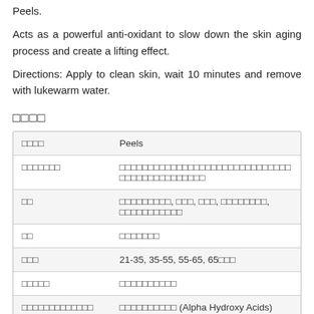Peels.
Acts as a powerful anti-oxidant to slow down the skin aging process and create a lifting effect.
Directions: Apply to clean skin, wait 10 minutes and remove with lukewarm water.
□□□□
| □□□□ | Peels |
| □□□□□□□ | □□□□□□□□□□□□□□□□□□□□□□□□□□□□□□ □□□□□□□□□□□□□□□ |
| □□ | □□□□□□□□□, □□□, □□□, □□□□□□□□, □□□□□□□□□□□ |
| □□ | □□□□□□□ |
| □□□ | 21-35, 35-55, 55-65, 65□□□ |
| □□□□□ | □□□□□□□□□□ |
| □□□□□□□□□□□□□ | □□□□□□□□□□ (Alpha Hydroxy Acids) |
| □□ | Water (Aqua), Propylene Glycol, Vaccinium Myrtillus (Bilberry) Fruit Extract, Saccharum |